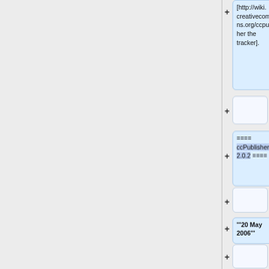[http://wiki.creativecommons.org/ccpublisher the tracker].
==== ccPublisher 2.0.2 ====
'''20 May 2006'''
The following bugs were fixed for the 2.0.2 release:
=== Downloads
* ccPublisher 2